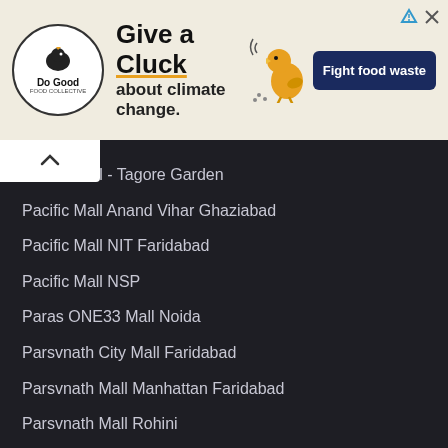[Figure (other): Advertisement banner: 'Give a Cluck about climate change. Fight food waste' with Do Good logo and chicken illustration]
Pacific Mall - Tagore Garden
Pacific Mall Anand Vihar Ghaziabad
Pacific Mall NIT Faridabad
Pacific Mall NSP
Paras ONE33 Mall Noida
Parsvnath City Mall Faridabad
Parsvnath Mall Manhattan Faridabad
Parsvnath Mall Rohini
Parsvnath Metro Mall Akshardham
Parsvnath Metro Mall Azadpur
Parsvnath Metro Mall Inderlok
Parsvnath Metro Mall Kashmere Gate